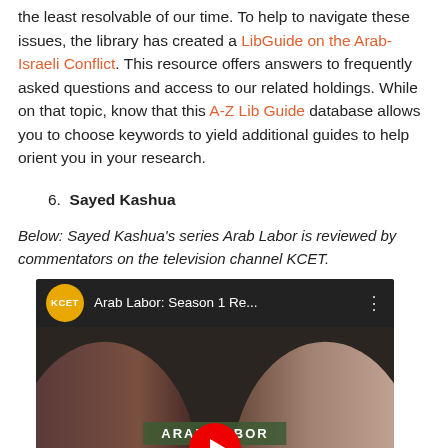the least resolvable of our time. To help to navigate these issues, the library has created a LibGuide on the Arab-Israeli Conflict. This resource offers answers to frequently asked questions and access to our related holdings. While on that topic, know that this A-Z Lib Guide database allows you to choose keywords to yield additional guides to help orient you in your research.
6. Sayed Kashua
Below: Sayed Kashua's series Arab Labor is reviewed by commentators on the television channel KCET.
[Figure (screenshot): YouTube video thumbnail for 'Arab Labor: Season 1 Re...' from the KCET channel, showing two people sitting together with an 'ARAB LABOR' banner and a YouTube play button.]